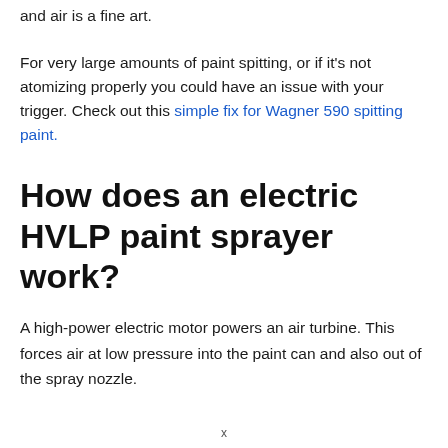and air is a fine art.
For very large amounts of paint spitting, or if it’s not atomizing properly you could have an issue with your trigger. Check out this simple fix for Wagner 590 spitting paint.
How does an electric HVLP paint sprayer work?
A high-power electric motor powers an air turbine. This forces air at low pressure into the paint can and also out of the spray nozzle.
x